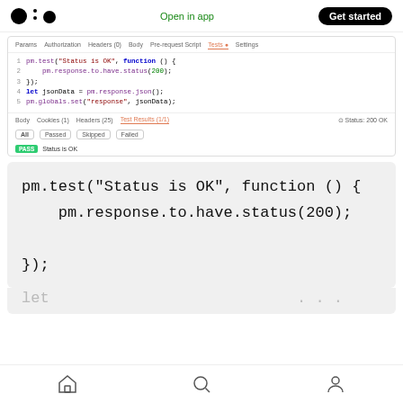[Figure (screenshot): Medium app top navigation bar with logo, 'Open in app' link in green, and 'Get started' black pill button]
[Figure (screenshot): Postman API test editor screenshot showing tabs (Params, Authorization, Headers, Body, Pre-request Script, Tests, Settings), a code editor with pm.test and pm.response test script, and test results panel showing PASS for 'Status is OK']
pm.test("Status is OK", function () {
    pm.response.to.have.status(200);
});
[Figure (screenshot): Mobile bottom navigation bar with home, search, and profile icons]